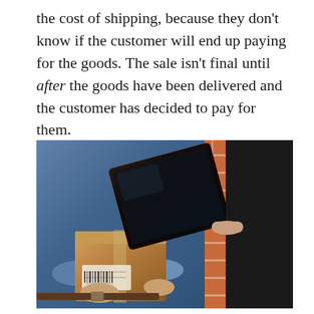the cost of shipping, because they don't know if the customer will end up paying for the goods. The sale isn't final until after the goods have been delivered and the customer has decided to pay for them.
[Figure (photo): A delivery person holding a cardboard package and a tablet device, with a customer pointing at the tablet to sign for the delivery. Brick wall background visible.]